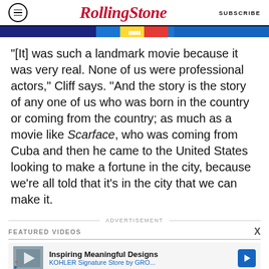RollingStone | SUBSCRIBE
[Figure (photo): Partial image strip showing a colorful banner/thumbnail at the top of the article]
“[It] was such a landmark movie because it was very real. None of us were professional actors,” Cliff says. “And the story is the story of any one of us who was born in the country or coming from the country; as much as a movie like Scarface, who was coming from Cuba and then he came to the United States looking to make a fortune in the city, because we’re all told that it’s in the city that we can make it.
ADVERTISEMENT
FEATURED VIDEOS
[Figure (screenshot): Advertisement banner: Inspiring Meaningful Designs - KOHLER Signature Store by GRO...]